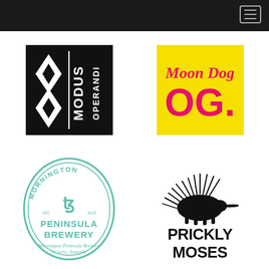[Figure (logo): Dark top navigation bar with hamburger menu icon]
[Figure (logo): Modus Operandi brewery logo: black square with white diamond M symbol and vertical text MODUS OPERANDI]
[Figure (logo): Moon Dog OG logo: bright yellow square with Moon Dog in pink script and OG in large pink block letters]
[Figure (logo): Mornington Peninsula Brewery logo: teal oval outline with ornate lettering]
[Figure (logo): Prickly Moses logo: black echidna illustration above bold black text PRICKLY MOSES]